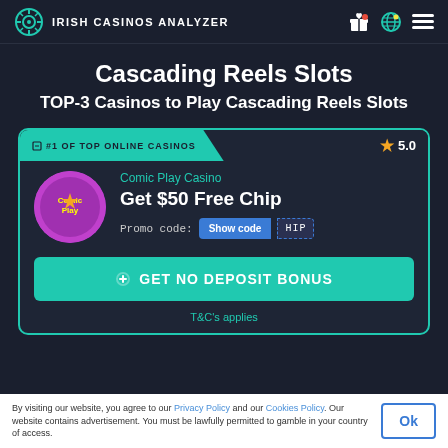IRISH CASINOS ANALYZER
Cascading Reels Slots
TOP-3 Casinos to Play Cascading Reels Slots
#1 OF TOP ONLINE CASINOS  ★ 5.0
Comic Play Casino
Get $50 Free Chip
Promo code: Show code HIP
GET NO DEPOSIT BONUS
T&C's applies
By visiting our website, you agree to our Privacy Policy and our Cookies Policy. Our website contains advertisement. You must be lawfully permitted to gamble in your country of access.